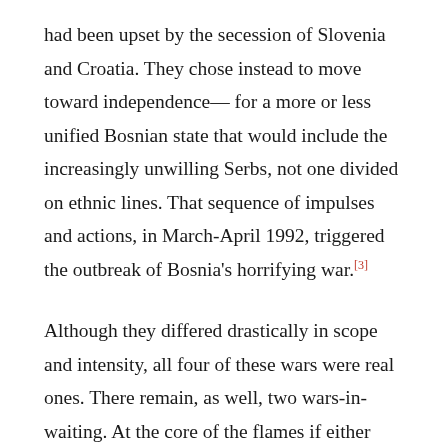had been upset by the secession of Slovenia and Croatia. They chose instead to move toward independence— for a more or less unified Bosnian state that would include the increasingly unwilling Serbs, not one divided on ethnic lines. That sequence of impulses and actions, in March-April 1992, triggered the outbreak of Bosnia's horrifying war.[3]
Although they differed drastically in scope and intensity, all four of these wars were real ones. There remain, as well, two wars-in-waiting. At the core of the flames if either were to ignite would be ethnic Albanians, another national element of the former Yugoslavia. They were a presence in two republics. In Serbia, Albanians form 90 percent of the population of the province of Kosovo, which is the all-